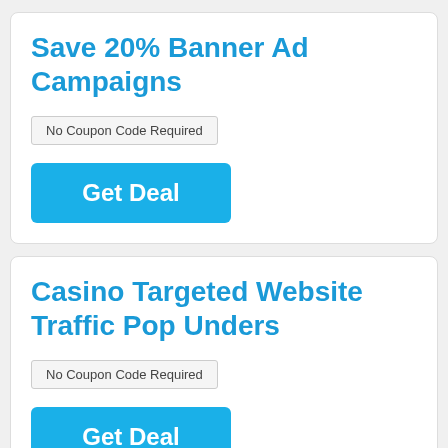Save 20% Banner Ad Campaigns
No Coupon Code Required
Get Deal
Casino Targeted Website Traffic Pop Unders
No Coupon Code Required
Get Deal